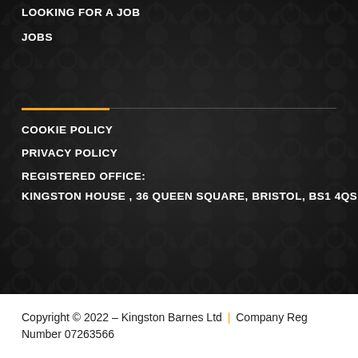LOOKING FOR A JOB
JOBS
COOKIE POLICY
PRIVACY POLICY
REGISTERED OFFICE:
KINGSTON HOUSE , 36 QUEEN SQUARE, BRISTOL, BS1 4QS
Copyright © 2022 – Kingston Barnes Ltd | Company Reg Number 07263566